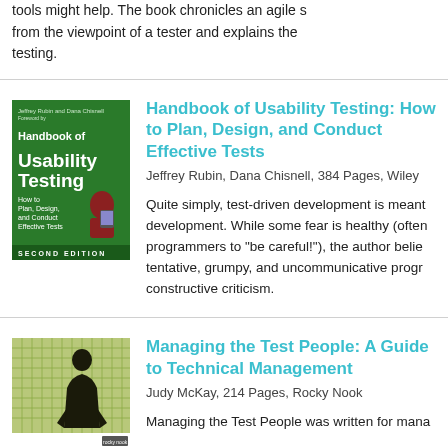tools might help. The book chronicles an agile s from the viewpoint of a tester and explains the testing.
[Figure (illustration): Book cover of 'Handbook of Usability Testing' Second Edition, green cover with person using a device]
Handbook of Usability Testing: How to Plan, Design, and Conduct Effective Tests
Jeffrey Rubin, Dana Chisnell, 384 Pages, Wiley
Quite simply, test-driven development is meant development. While some fear is healthy (often programmers to "be careful!"), the author belie tentative, grumpy, and uncommunicative progr constructive criticism.
[Figure (illustration): Book cover of 'Managing the Test People', dark cover with silhouette of person]
Managing the Test People: A Guide to Technical Management
Judy McKay, 214 Pages, Rocky Nook
Managing the Test People was written for mana